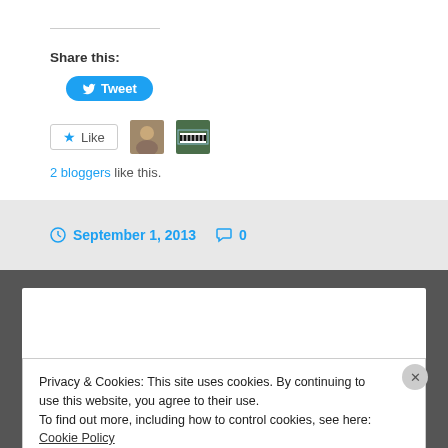Share this:
[Figure (screenshot): Tweet button in blue]
[Figure (screenshot): Like button with star icon and two blogger avatars]
2 bloggers like this.
September 1, 2013   0
Krauss & Craig in Brisbane –
Privacy & Cookies: This site uses cookies. By continuing to use this website, you agree to their use.
To find out more, including how to control cookies, see here: Cookie Policy
Close and accept